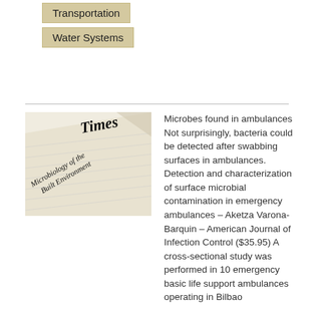Transportation
Water Systems
[Figure (photo): Newspaper with headline 'Times' and text 'Microbiology of the Built Environment']
Microbes found in ambulances Not surprisingly, bacteria could be detected after swabbing surfaces in ambulances. Detection and characterization of surface microbial contamination in emergency ambulances – Aketza Varona-Barquin – American Journal of Infection Control ($35.95) A cross-sectional study was performed in 10 emergency basic life support ambulances operating in Bilbao